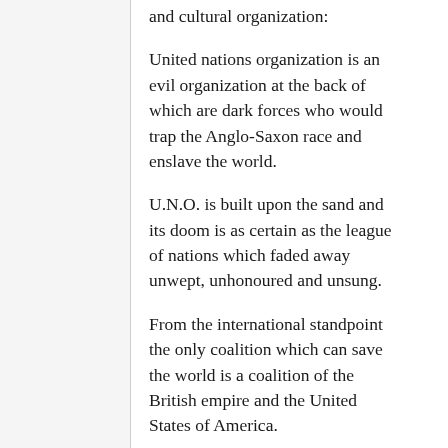and cultural organization:
United nations organization is an evil organization at the back of which are dark forces who would trap the Anglo-Saxon race and enslave the world.
U.N.O. is built upon the sand and its doom is as certain as the league of nations which faded away unwept, unhonoured and unsung.
From the international standpoint the only coalition which can save the world is a coalition of the British empire and the United States of America.
That is correct. In addition to